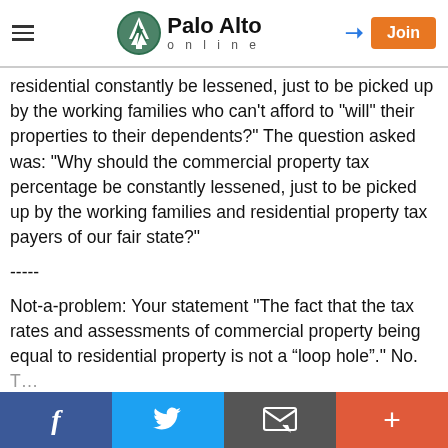Palo Alto online
residential constantly be lessened, just to be picked up by the working families who can't afford to "will" their properties to their dependents?" The question asked was: "Why should the commercial property tax percentage be constantly lessened, just to be picked up by the working families and residential property tax payers of our fair state?"
-----
Not-a-problem: Your statement "The fact that the tax rates and assessments of commercial property being equal to residential property is not a “loop hole”." No. The...
Facebook | Twitter | Email | Plus